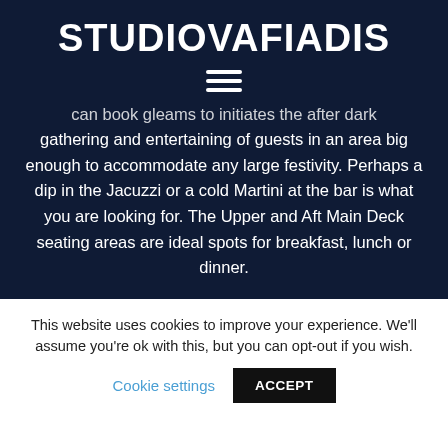STUDIOVAFIADIS
can book gleams to initiates the after dark gathering and entertaining of guests in an area big enough to accommodate any large festivity. Perhaps a dip in the Jacuzzi or a cold Martini at the bar is what you are looking for. The Upper and Aft Main Deck seating areas are ideal spots for breakfast, lunch or dinner.
This website uses cookies to improve your experience. We'll assume you're ok with this, but you can opt-out if you wish.
Cookie settings   ACCEPT